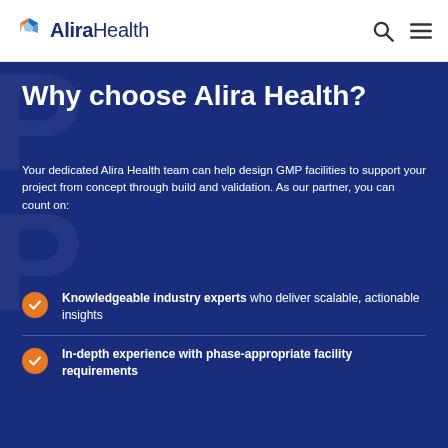[Figure (logo): Alira Health logo with geometric hexagonal icon in blue and orange colors]
Alira Health
Why choose Alira Health?
Your dedicated Alira Health team can help design GMP facilities to support your project from concept through build and validation. As our partner, you can count on:
Knowledgeable industry experts who deliver scalable, actionable insights
In-depth experience with phase-appropriate facility requirements